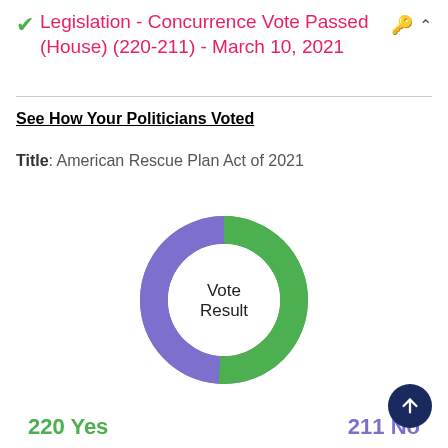✓ Legislation - Concurrence Vote Passed (House) (220-211) - March 10, 2021
See How Your Politicians Voted
Title: American Rescue Plan Act of 2021
[Figure (donut-chart): Vote Result]
220 Yes   211 No